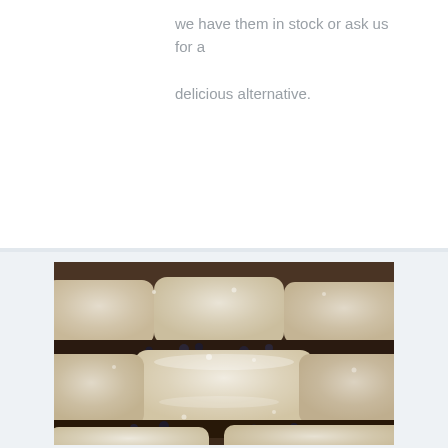we have them in stock or ask us for a delicious alternative.
[Figure (photo): Close-up photograph of multiple powdered sugar-dusted beignets stacked and arranged together, showing their square/rectangular shape covered in white powdered sugar with dark filling visible between them.]